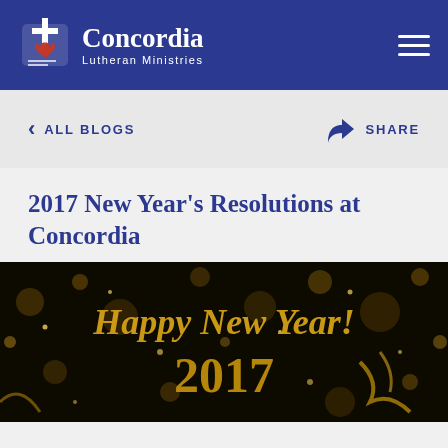Concordia Lutheran Ministries
< ALL BLOGS    SHARE
2017 New Year's Resolutions at Concordia
[Figure (photo): Happy New Year! 2017 decorative image with gold text and bokeh lights on dark background]